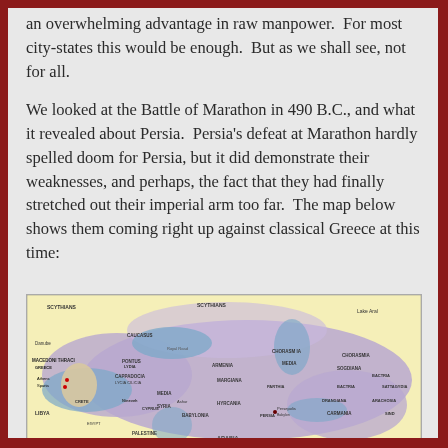an overwhelming advantage in raw manpower.  For most city-states this would be enough.  But as we shall see, not for all.
We looked at the Battle of Marathon in 490 B.C., and what it revealed about Persia.  Persia's defeat at Marathon hardly spelled doom for Persia, but it did demonstrate their weaknesses, and perhaps, the fact that they had finally stretched out their imperial arm too far.  The map below shows them coming right up against classical Greece at this time:
[Figure (map): Historical map of the Persian Empire showing its extent from Greece and Egypt in the west to India in the east, including regions labeled SCYTHIA, GREECE, MACEDONIA, THRACE, LYDIA, CAPPADOCIA, LYCIA, CARIA, CILICIA, ARMENIA, MEDIA, PARTHIA, BACTRIA, DRANGIANA, ARACHOSIA, SATTAGYDIA, BABYLONIA, ARABIA, CARMANIA, SIND, CHORASMIA, and others. Shows the Royal Road. Persia shown in purple/blue shading.]